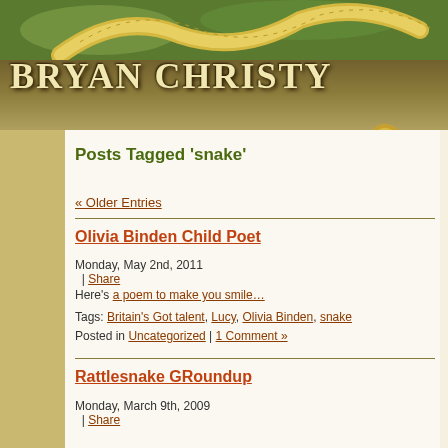[Figure (illustration): Snake coiled on green foliage background forming a decorative website header banner]
Bryan Christy
Posts Tagged 'snake'
« Older Entries
Olivia Binden Child Poet
Monday, May 2nd, 2011 | Share
Here's a poem to make you smile…
Tags: Britain's Got talent, Lucy, Olivia Binden, snake
Posted in Uncategorized | 1 Comment »
Rattlesnake GRoundup
Monday, March 9th, 2009 | Share